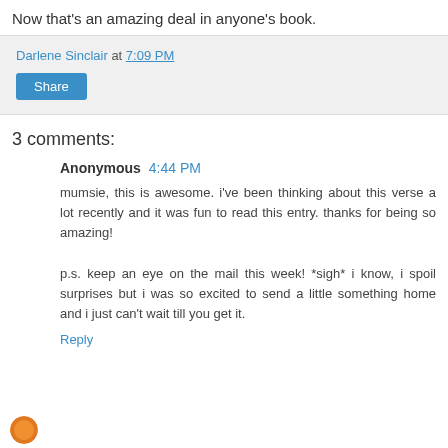Now that's an amazing deal in anyone's book.
Darlene Sinclair at 7:09 PM
Share
3 comments:
Anonymous  4:44 PM
mumsie, this is awesome. i've been thinking about this verse a lot recently and it was fun to read this entry. thanks for being so amazing!

p.s. keep an eye on the mail this week! *sigh* i know, i spoil surprises but i was so excited to send a little something home and i just can't wait till you get it.
Reply